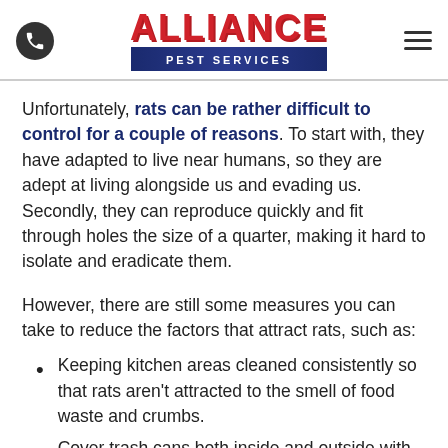Alliance Pest Services logo with phone icon and hamburger menu
Unfortunately, rats can be rather difficult to control for a couple of reasons. To start with, they have adapted to live near humans, so they are adept at living alongside us and evading us. Secondly, they can reproduce quickly and fit through holes the size of a quarter, making it hard to isolate and eradicate them.
However, there are still some measures you can take to reduce the factors that attract rats, such as:
Keeping kitchen areas cleaned consistently so that rats aren't attracted to the smell of food waste and crumbs.
Cover trash cans both inside and outside with lids and taking out the trash often. Also, remove trash from around your property.